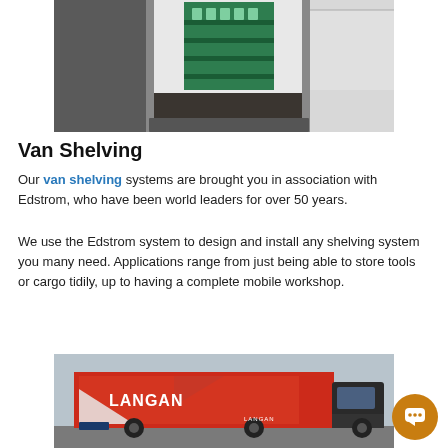[Figure (photo): Interior of a van with open rear doors showing green metal shelving/racking system installed inside a white van]
Van Shelving
Our van shelving systems are brought you in association with Edstrom, who have been world leaders for over 50 years.
We use the Edstrom system to design and install any shelving system you many need. Applications range from just being able to store tools or cargo tidily, up to having a complete mobile workshop.
[Figure (photo): A large red curtain-side truck with LANGAN branding on the side, parked outdoors]